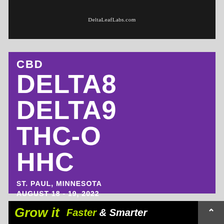[Figure (photo): Dark background photo with DeltaLeafLabs.com watermark text]
[Figure (infographic): Purple promotional banner for CBD Delta8 Delta9 THC-O HHC expo in St. Paul, Minnesota, August 18-19, 2022, with The Delta 8 Expo and CBD Expo Tour branding and a register button]
[Figure (infographic): Black background advertisement showing 'Grow it Faster & Smarter' in lime green and white italic text]